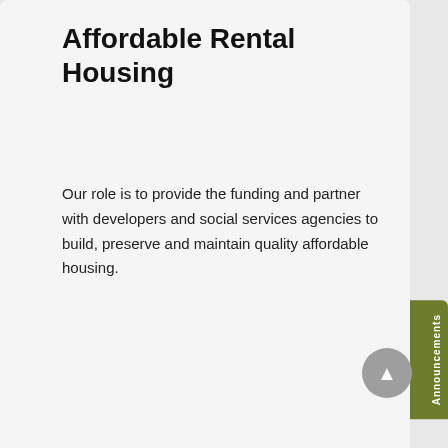Affordable Rental Housing
Our role is to provide the funding and partner with developers and social services agencies to build, preserve and maintain quality affordable housing.
View >
Accessible Housing Program
The Accessible Housing Program (AcHP) ensures that people with disabilities have an equal